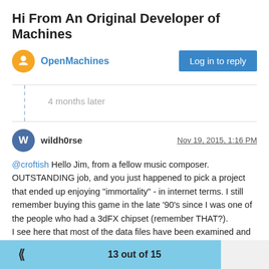Hi From An Original Developer of Machines
OpenMachines
Log in to reply
4 months later
wildh0rse
Nov 19, 2015, 1:16 PM
@croftish Hello Jim, from a fellow music composer. OUTSTANDING job, and you just happened to pick a project that ended up enjoying "immortality" - in internet terms. I still remember buying this game in the late '90's since I was one of the people who had a 3dFX chipset (remember THAT?). I see here that most of the data files have been examined and the models, albeit in DirectX format, extracted. AFAIK, if the models can be used and modified, and the AI programmed then there must be an engine out there that can use this data to recreate this game. I have seen Unity3D mentioned here and from what I have seen of
13 out of 15